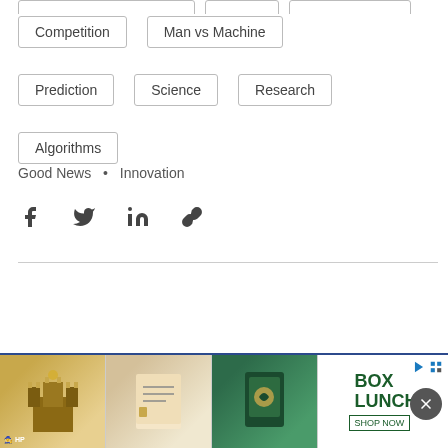Competition   Man vs Machine
Prediction   Science   Research
Algorithms
Good News • Innovation
[Figure (infographic): Social media share icons: Facebook, Twitter, LinkedIn, Link/URL]
[Figure (infographic): Advertisement banner for BoxLunch Harry Potter products with close button]